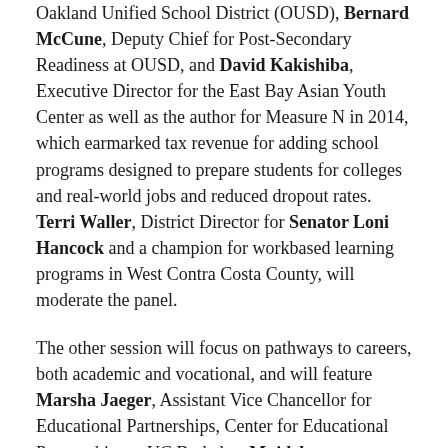Oakland Unified School District (OUSD), Bernard McCune, Deputy Chief for Post-Secondary Readiness at OUSD, and David Kakishiba, Executive Director for the East Bay Asian Youth Center as well as the author for Measure N in 2014, which earmarked tax revenue for adding school programs designed to prepare students for colleges and real-world jobs and reduced dropout rates.  Terri Waller, District Director for Senator Loni Hancock and a champion for workbased learning programs in West Contra Costa County, will moderate the panel.
The other session will focus on pathways to careers, both academic and vocational, and will feature Marsha Jaeger, Assistant Vice Chancellor for Educational Partnerships, Center for Educational Partnerships at UC Berkeley, Mojdeh Mehdizadeh, President of Contra Costa College, Melinda Hall, Executive Director, Hayward Promise Neighborhood, Cal State East Bay, and Jennifer Stetson, Step up, Fit in, UA Local 342, Julia